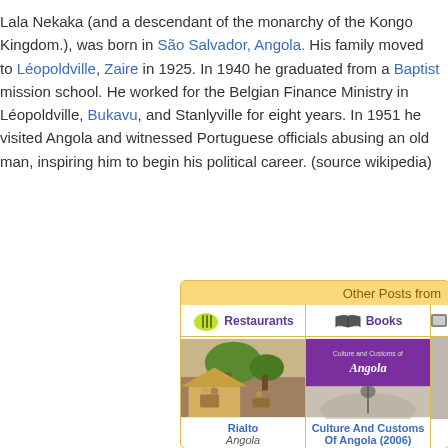Lala Nekaka (and a descendant of the monarchy of the Kongo Kingdom.), was born in São Salvador, Angola. His family moved to Léopoldville, Zaire in 1925. In 1940 he graduated from a Baptist mission school. He worked for the Belgian Finance Ministry in Léopoldville, Bukavu, and Stanlyville for eight years. In 1951 he visited Angola and witnessed Portuguese officials abusing an old man, inspiring him to begin his political career. (source wikipedia)
[Figure (infographic): Widget box titled 'Other Posts from' with two columns: Restaurants (showing a photo of Rialto, Angola) and Books (showing a book cover 'Culture and Customs of Angola'), plus a partially visible third column]